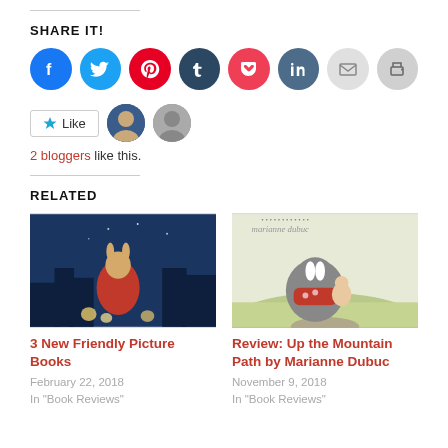SHARE IT!
[Figure (infographic): Row of 8 social sharing icon buttons: Facebook (blue), Twitter (light blue), Pinterest (red), Tumblr (dark navy), Pocket (red), LinkedIn (dark blue-grey), Email (light grey), Print (grey)]
[Figure (infographic): Like button with star icon and two avatar profile images of bloggers]
2 bloggers like this.
RELATED
[Figure (illustration): Book cover illustration: a rabbit in a red coat sitting among glowing candles in jars against a blue nighttime city background]
3 New Friendly Picture Books
February 22, 2018
In "Book Reviews"
[Figure (illustration): Book cover: 'Up the Mountain Path' by Marianne Dubuc, showing a large badger and small kitten on a path with green hills in background]
Review: Up the Mountain Path by Marianne Dubuc
November 9, 2018
In "Book Reviews"